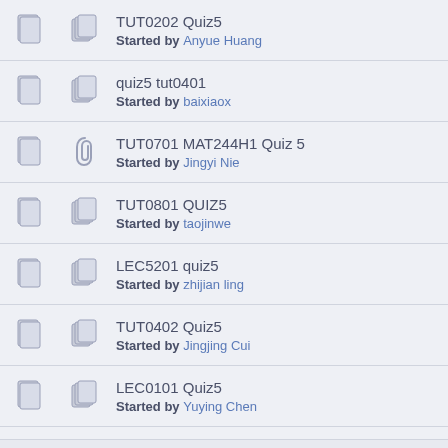TUT0202 Quiz5 Started by Anyue Huang
quiz5 tut0401 Started by baixiaox
TUT0701 MAT244H1 Quiz 5 Started by Jingyi Nie
TUT0801 QUIZ5 Started by taojinwe
LEC5201 quiz5 Started by zhijian ling
TUT0402 Quiz5 Started by Jingjing Cui
LEC0101 Quiz5 Started by Yuying Chen